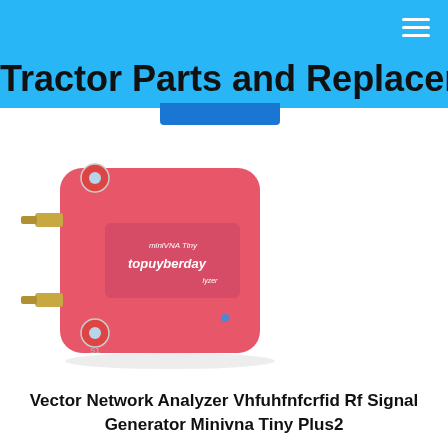Tractor Parts and Replacement
[Figure (photo): A red compact electronic device — miniVNA Tiny vector network analyzer / RF signal generator, with two gold SMA connectors on the left side and a small LED on the front panel. The device is labeled 'topuyberday'.]
Vector Network Analyzer Vhfuhfnfcrfid Rf Signal Generator Minivna Tiny Plus2